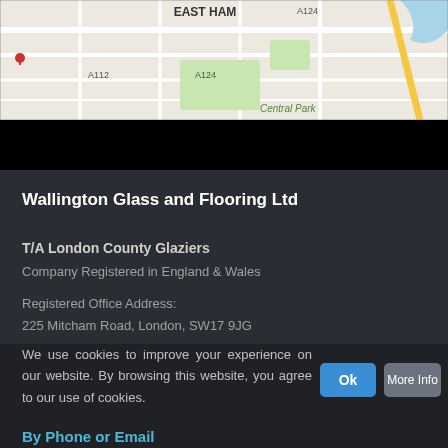[Figure (map): Street map showing East Ham area in London, with road labels including A124, A112, A124, and Central Park visible]
Wallington Glass and Flooring Ltd
T/A London County Glaziers
Company Registered in England & Wales
Registered Office Address:
225 Mitcham Road, London, SW17 9JG
We use cookies to improve your experience on our website. By browsing this website, you agree to our use of cookies.
By Phone or Email